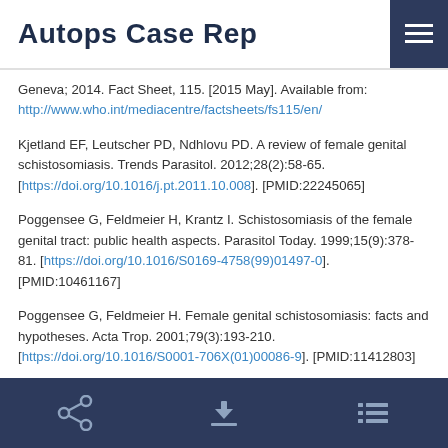Autops Case Rep
Geneva; 2014. Fact Sheet, 115. [2015 May]. Available from: http://www.who.int/mediacentre/factsheets/fs115/en/
Kjetland EF, Leutscher PD, Ndhlovu PD. A review of female genital schistosomiasis. Trends Parasitol. 2012;28(2):58-65. [https://doi.org/10.1016/j.pt.2011.10.008]. [PMID:22245065]
Poggensee G, Feldmeier H, Krantz I. Schistosomiasis of the female genital tract: public health aspects. Parasitol Today. 1999;15(9):378-81. [https://doi.org/10.1016/S0169-4758(99)01497-0]. [PMID:10461167]
Poggensee G, Feldmeier H. Female genital schistosomiasis: facts and hypotheses. Acta Trop. 2001;79(3):193-210. [https://doi.org/10.1016/S0001-706X(01)00086-9]. [PMID:11412803]
share download list icons